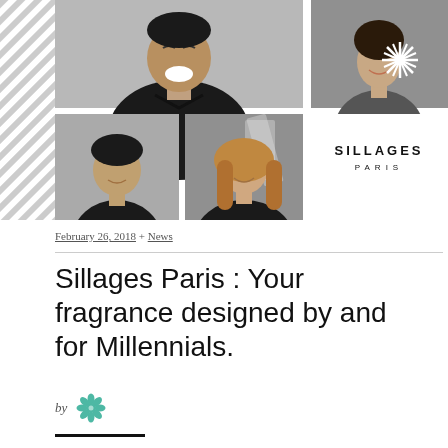[Figure (photo): Black and white photo collage of four people (Sillages Paris brand imagery) with the Sillages Paris logo in the bottom right quadrant. Diagonal stripe element on far left.]
February 26, 2018 + News
Sillages Paris : Your fragrance designed by and for Millennials.
by [Sillages Paris logo icon]